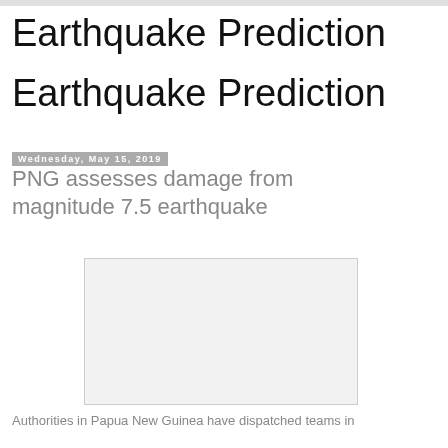Earthquake Prediction
Earthquake Prediction
Wednesday, May 15, 2019
PNG assesses damage from magnitude 7.5 earthquake
[Figure (photo): Blank/placeholder image related to earthquake article]
Authorities in Papua New Guinea have dispatched teams in